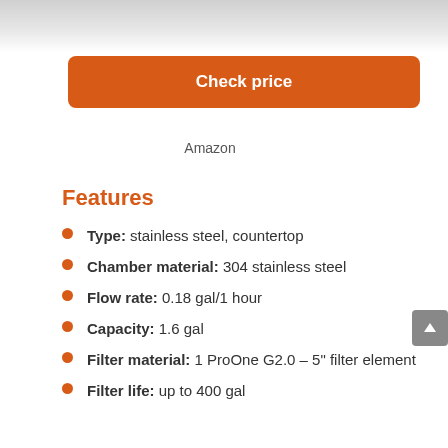[Figure (photo): Top portion of a product photo (stainless steel water filter), partially cropped]
Check price
Amazon
Features
Type: stainless steel, countertop
Chamber material: 304 stainless steel
Flow rate: 0.18 gal/1 hour
Capacity: 1.6 gal
Filter material: 1 ProOne G2.0 – 5" filter element
Filter life: up to 400 gal